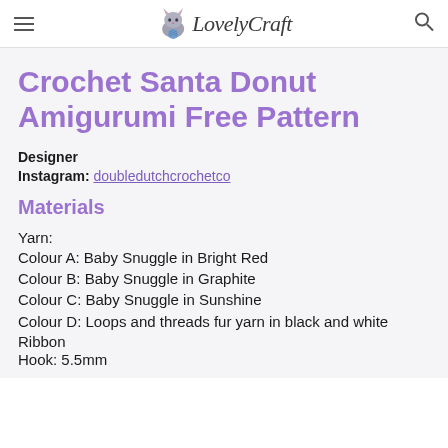LovelyCraft
Crochet Santa Donut Amigurumi Free Pattern
Designer
Instagram: doubledutchcrochetco
Materials
Yarn:
Colour A: Baby Snuggle in Bright Red
Colour B: Baby Snuggle in Graphite
Colour C: Baby Snuggle in Sunshine
Colour D: Loops and threads fur yarn in black and white
Ribbon
Hook: 5.5mm